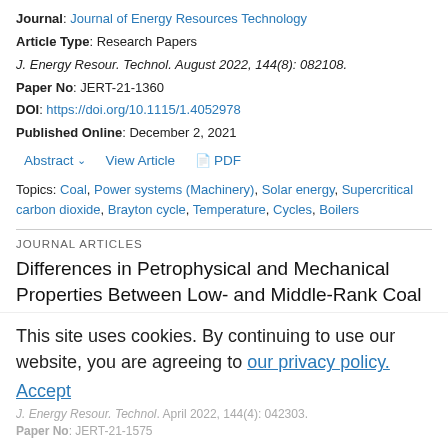Journal: Journal of Energy Resources Technology
Article Type: Research Papers
J. Energy Resour. Technol. August 2022, 144(8): 082108.
Paper No: JERT-21-1360
DOI: https://doi.org/10.1115/1.4052978
Published Online: December 2, 2021
Abstract  View Article  PDF
Topics: Coal, Power systems (Machinery), Solar energy, Supercritical carbon dioxide, Brayton cycle, Temperature, Cycles, Boilers
JOURNAL ARTICLES
Differences in Petrophysical and Mechanical Properties Between Low- and Middle-Rank Coal Subjected to Liquid Nitrogen Cooling in Coalbed Methane Mining
Menglin Du, Feng Gao, Chengzhong Cai, Shanje Su, Zekai Wang
This site uses cookies. By continuing to use our website, you are agreeing to our privacy policy. Accept
J. Energy Resour. Technol. April 2022, 144(4): 042303.
Paper No: JERT-21-1575